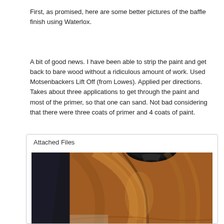First, as promised, here are some better pictures of the baffle finish using Waterlox.
A bit of good news. I have been able to strip the paint and get back to bare wood without a ridiculous amount of work. Used Motsenbackers Lift Off (from Lowes). Applied per directions. Takes about three applications to get through the paint and most of the primer, so that one can sand. Not bad considering that there were three coats of primer and 4 coats of paint.
Attached Files
[Figure (photo): Close-up photograph of a wooden speaker baffle with beautiful walnut wood grain, showing warm brown tones with dark figuring, and a circular speaker cutout visible at the top.]